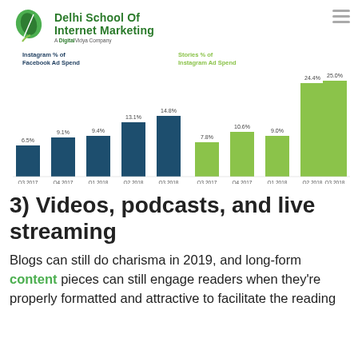[Figure (logo): Delhi School of Internet Marketing logo with green leaf and company name]
[Figure (grouped-bar-chart): Instagram % of Facebook Ad Spend / Stories % of Instagram Ad Spend]
3) Videos, podcasts, and live streaming
Blogs can still do charisma in 2019, and long-form content pieces can still engage readers when they're properly formatted and attractive to facilitate the reading